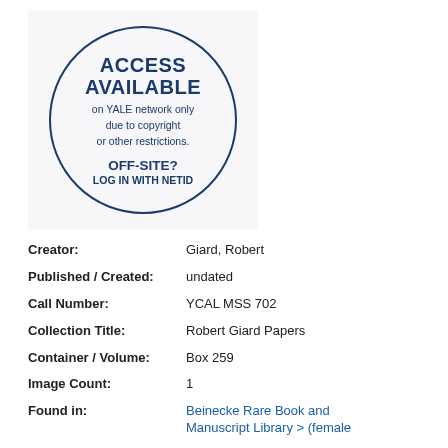[Figure (other): Circle stamp graphic on light gray background reading ACCESS AVAILABLE on YALE network only due to copyright or other restrictions. OFF-SITE? LOG IN WITH NETID]
Creator: Giard, Robert
Published / Created: undated
Call Number: YCAL MSS 702
Collection Title: Robert Giard Papers
Container / Volume: Box 259
Image Count: 1
Found in: Beinecke Rare Book and Manuscript Library > (female